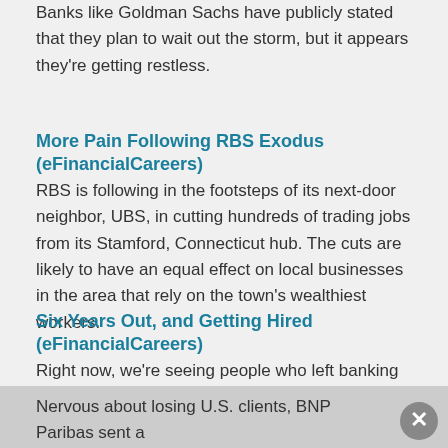Banks like Goldman Sachs have publicly stated that they plan to wait out the storm, but it appears they're getting restless.
More Pain Following RBS Exodus (eFinancialCareers)
RBS is following in the footsteps of its next-door neighbor, UBS, in cutting hundreds of trading jobs from its Stamford, Connecticut hub. The cuts are likely to have an equal effect on local businesses in the area that rely on the town's wealthiest workers.
Six Years Out, and Getting Hired (eFinancialCareers)
Right now, we're seeing people who left banking in 2008 and who haven't worked since getting hired again. But admittedly, they're not going into front office roles.
BNP's Banker Script (Bloomberg)
Nervous about losing U.S. clients, BNP Paribas sent a